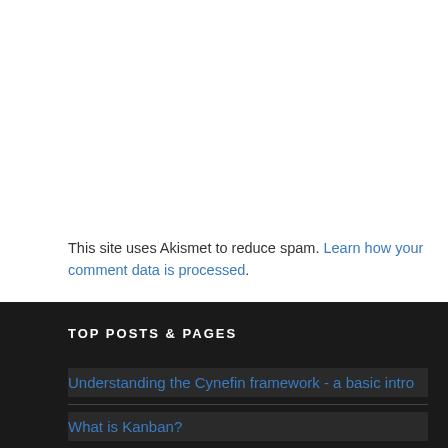This site uses Akismet to reduce spam. Learn how your comment data is processed.
TOP POSTS & PAGES
Understanding the Cynefin framework - a basic intro
What is Kanban?